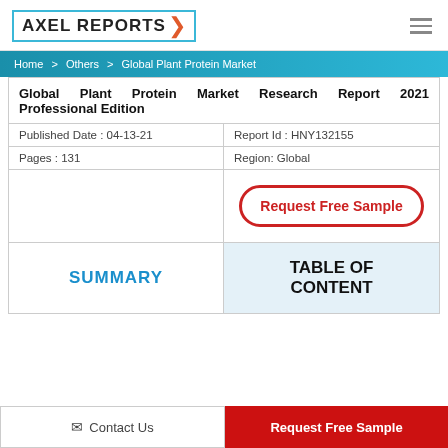AXEL REPORTS
Home > Others > Global Plant Protein Market
Global Plant Protein Market Research Report 2021 Professional Edition
|  |  |
| --- | --- |
| Published Date : 04-13-21 | Report Id : HNY132155 |
| Pages : 131 | Region: Global |
Request Free Sample
SUMMARY
TABLE OF CONTENT
Contact Us
Request Free Sample